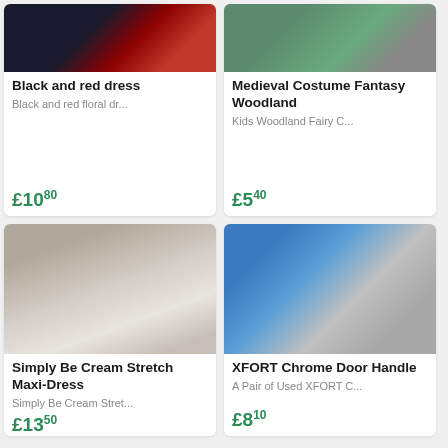[Figure (photo): Black and red floral dress product photo]
Black and red dress
Black and red floral dr...
£10.80
[Figure (photo): Medieval Costume Fantasy Woodland kids fairy costume product photo]
Medieval Costume Fantasy Woodland
Kids Woodland Fairy C...
£5.40
[Figure (photo): Simply Be Cream Stretch Maxi-Dress product photo on wooden background]
Simply Be Cream Stretch Maxi-Dress
Simply Be Cream Stret...
£13.50
[Figure (photo): XFORT Chrome Door Handle product photo with XFORT packaging]
XFORT Chrome Door Handle
A Pair of Used XFORT C...
£8.10